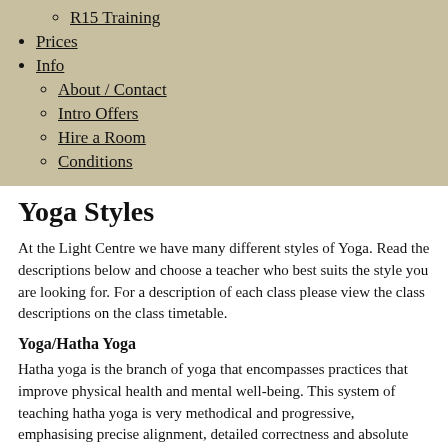R15 Training
Prices
Info
About / Contact
Intro Offers
Hire a Room
Conditions
Yoga Styles
At the Light Centre we have many different styles of Yoga. Read the descriptions below and choose a teacher who best suits the style you are looking for. For a description of each class please view the class descriptions on the class timetable.
Yoga/Hatha Yoga
Hatha yoga is the branch of yoga that encompasses practices that improve physical health and mental well-being. This system of teaching hatha yoga is very methodical and progressive, emphasising precise alignment, detailed correctness and absolute safety. It uses equipment in the form of supports and props that allow students to progress safely at their own pace, and in a way that suits their body.